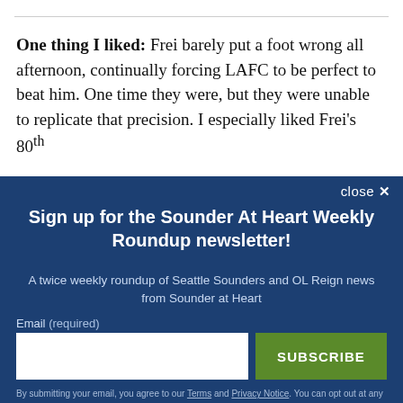One thing I liked: Frei barely put a foot wrong all afternoon, continually forcing LAFC to be perfect to beat him. One time they were, but they were unable to replicate that precision. I especially liked Frei's 80th
close ×
Sign up for the Sounder At Heart Weekly Roundup newsletter!
A twice weekly roundup of Seattle Sounders and OL Reign news from Sounder at Heart
Email (required)
SUBSCRIBE
By submitting your email, you agree to our Terms and Privacy Notice. You can opt out at any time. This site is protected by reCAPTCHA and the Google Privacy Policy and Terms of Service apply.